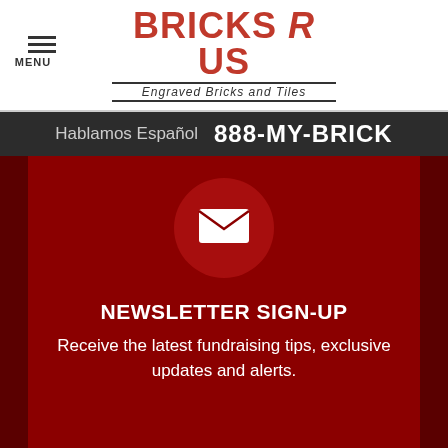MENU | BRICKS R US - Engraved Bricks and Tiles
Hablamos Español  888-MY-BRICK
[Figure (illustration): Envelope/mail icon inside a semi-transparent dark red circle on a dark red background]
NEWSLETTER SIGN-UP
Receive the latest fundraising tips, exclusive updates and alerts.
Email Address
Email
[Figure (illustration): Chat bubble icon with ellipsis dots, red background widget showing HAVE QUESTIONS? Chat Live Now!]
Sign Up